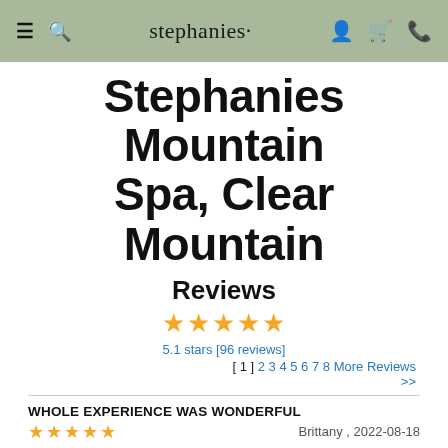stephanies
Stephanies Mountain Spa, Clear Mountain
Reviews
★★★★★
5.1 stars [96 reviews]
[ 1 ] 2 3 4 5 6 7 8 More Reviews >>
WHOLE EXPERIENCE WAS WONDERFUL
★★★★★   Brittany , 2022-08-18
I am so relaxed and feel like I could sleep all day
AMSOLUTLEY AMAZING - FEEL SO RELAXED AND PAMPERED